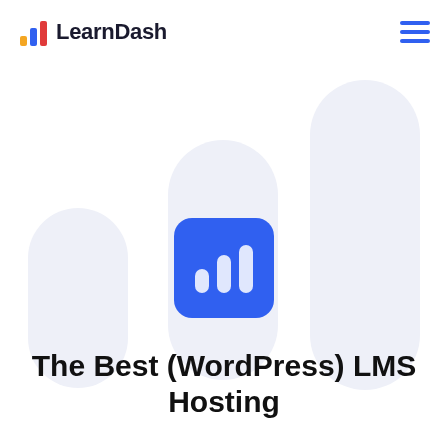LearnDash
[Figure (logo): LearnDash logo with bar chart icon in blue, yellow, and red colors beside the text 'LearnDash' in dark color]
[Figure (illustration): Three large rounded pill/capsule shapes in light lavender/blue-gray color arranged at different heights in the background, with a blue rounded square icon containing a white bar chart in the center]
The Best (WordPress) LMS Hosting